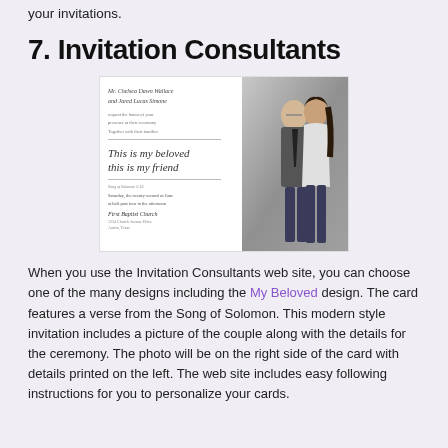your invitations.
7. Invitation Consultants
[Figure (photo): A wedding invitation card showing script text 'This is my beloved this is my friend' on the left side and a photo of a couple on the right side.]
When you use the Invitation Consultants web site, you can choose one of the many designs including the My Beloved design. The card features a verse from the Song of Solomon. This modern style invitation includes a picture of the couple along with the details for the ceremony. The photo will be on the right side of the card with details printed on the left. The web site includes easy following instructions for you to personalize your cards.